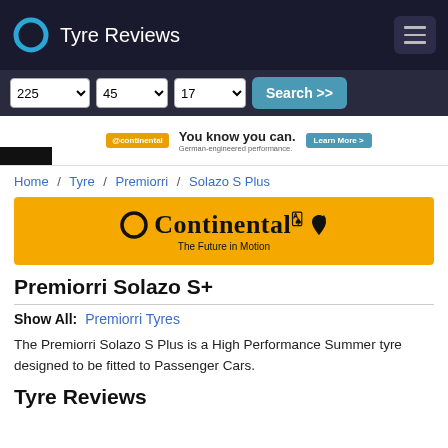Tyre Reviews
225  45  17  Search >>
[Figure (logo): Continental tyre brand advertisement banner: orange background with Continental logo and text 'The Future in Motion']
Home / Tyre / Premiorri / Solazo S Plus
Premiorri Solazo S+
Show All: Premiorri Tyres
The Premiorri Solazo S Plus is a High Performance Summer tyre designed to be fitted to Passenger Cars.
Tyre Reviews